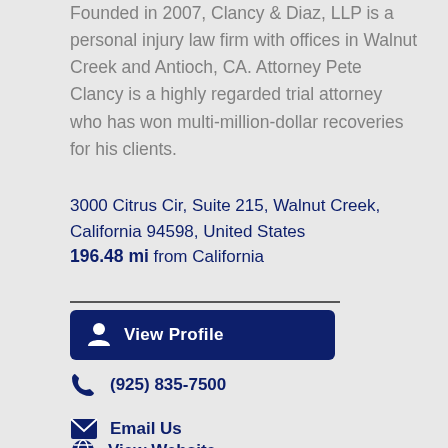Founded in 2007, Clancy & Diaz, LLP is a personal injury law firm with offices in Walnut Creek and Antioch, CA. Attorney Pete Clancy is a highly regarded trial attorney who has won multi-million-dollar recoveries for his clients.
3000 Citrus Cir, Suite 215, Walnut Creek, California 94598, United States 196.48 mi from California
View Profile
(925) 835-7500
Email Us
View Website